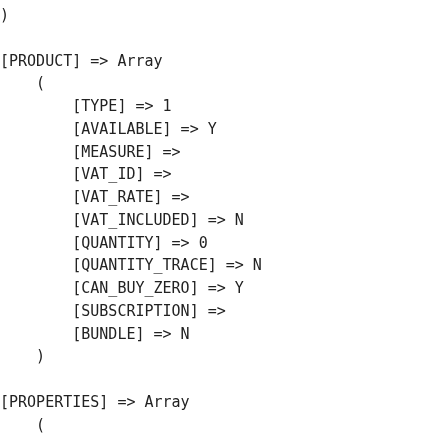)

[PRODUCT] => Array
    (
        [TYPE] => 1
        [AVAILABLE] => Y
        [MEASURE] =>
        [VAT_ID] =>
        [VAT_RATE] =>
        [VAT_INCLUDED] => N
        [QUANTITY] => 0
        [QUANTITY_TRACE] => N
        [CAN_BUY_ZERO] => Y
        [SUBSCRIPTION] =>
        [BUNDLE] => N
    )

[PROPERTIES] => Array
    (